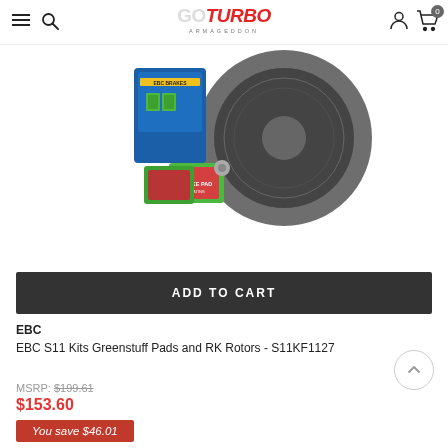GoTurbo Armageddon - navigation header with hamburger menu, search, logo, user icon, cart (0)
[Figure (photo): EBC brake kit product photo showing green brake pads, brake rotor disc, and blue product packaging box on white background]
ADD TO CART
EBC
EBC S11 Kits Greenstuff Pads and RK Rotors - S11KF1127
MSRP: $199.61
$153.60
You save $46.01